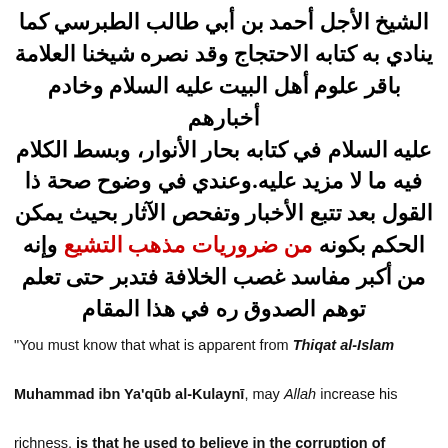الشيخ الأجل أحمد بن أبي طالب الطبرسي كما ينادي به كتابه الاحتجاج وقد نصره شيخنا العلامة باقر علوم أهل البيت عليه السلام وخادم أخبارهم عليه السلام في كتابه بحار الأنوار، وبسط الكلام فيه ما لا مزيد عليه.وعندي في وضوح صحة ذا القول بعد تتبع الأخبار وتفحص الآثار بحيث يمكن الحكم بكونه من ضروريات مذهب التشيع وإنه من أكبر مفاسد غصب الخلافة فتدبر حتى تعلم توهم الصدوق ره في هذا المقام
"You must know that what is apparent from Thiqat al-Islam Muhammad ibn Ya'qūb al-Kulaynī, may Allah increase his richness, is that he used to believe in the corruption of the Qur'ān and the deletion from it because he narrated many narrations that show this in his book al-Kāfi which he openly said at its beginning that he believes in everything he